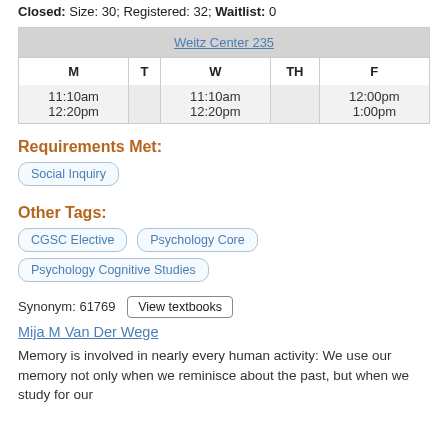Closed: Size: 30; Registered: 32; Waitlist: 0
| Weitz Center 235 |  |  |  |  |
| --- | --- | --- | --- | --- |
| M | T | W | TH | F |
| 11:10am
12:20pm |  | 11:10am
12:20pm |  | 12:00pm
1:00pm |
Requirements Met:
Social Inquiry
Other Tags:
CGSC Elective
Psychology Core
Psychology Cognitive Studies
Synonym: 61769  View textbooks
Mija M Van Der Wege
Memory is involved in nearly every human activity: We use our memory not only when we reminisce about the past, but when we study for our